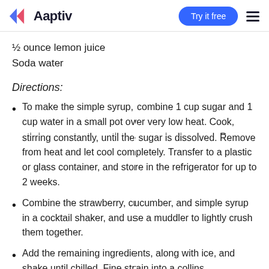Aaptiv | Try it free
½ ounce lemon juice
Soda water
Directions:
To make the simple syrup, combine 1 cup sugar and 1 cup water in a small pot over very low heat. Cook, stirring constantly, until the sugar is dissolved. Remove from heat and let cool completely. Transfer to a plastic or glass container, and store in the refrigerator for up to 2 weeks.
Combine the strawberry, cucumber, and simple syrup in a cocktail shaker, and use a muddler to lightly crush them together.
Add the remaining ingredients, along with ice, and shake until chilled. Fine strain into a collins